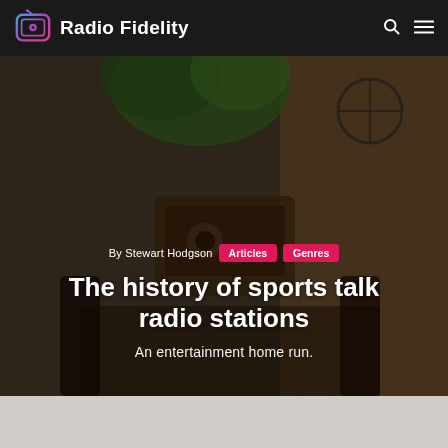Radio Fidelity
[Figure (photo): Hero background photo of a vintage radio in a rustic wooden interior with plants]
By Stewart Hodgson  Articles  Genres
The history of sports talk radio stations
An entertainment home run.